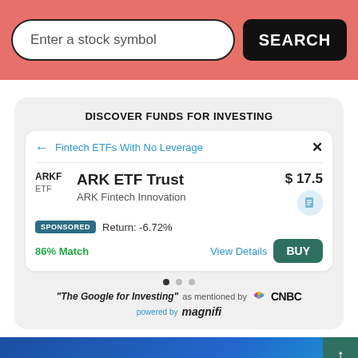[Figure (screenshot): Pink search bar with input field saying 'Enter a stock symbol' and a black SEARCH button]
[Figure (infographic): Discover Funds For Investing card showing ARK ETF Trust (ARKF), price $17.5, ARK Fintech Innovation, Return: -6.72%, 86% Match, with View Details and BUY buttons, sponsored badge, navigation dots, 'The Google for Investing' quote by CNBC, powered by magnifi]
[Figure (screenshot): Bottom blue banner with up arrow button in teal]